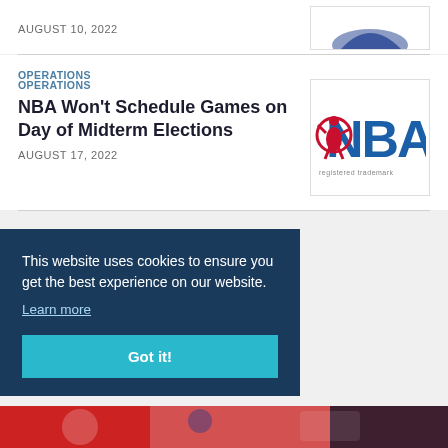AUGUST 10, 2022
[Figure (logo): Partial image of a logo at top right, cropped]
OPERATIONS
NBA Won't Schedule Games on Day of Midterm Elections
AUGUST 17, 2022
[Figure (logo): NBA logo in blue and red with basketball player silhouette]
This website uses cookies to ensure you get the best experience on our website.
Learn more
Got it!
[Figure (photo): Partial image at the bottom of the page, colorful sports-related photo]